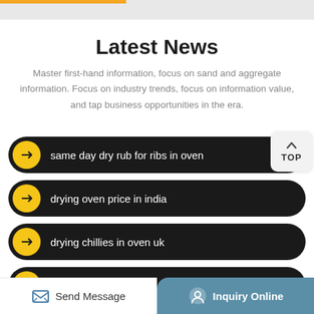Latest News
Master first-hand information, focus on sand and aggregate information. Focus on industry trends, focus on information value, and tap business opportunities in the era.
same day dry rub for ribs in oven
drying oven price in india
drying chillies in oven uk
china lab drying oven
Send Message | Inquiry Online